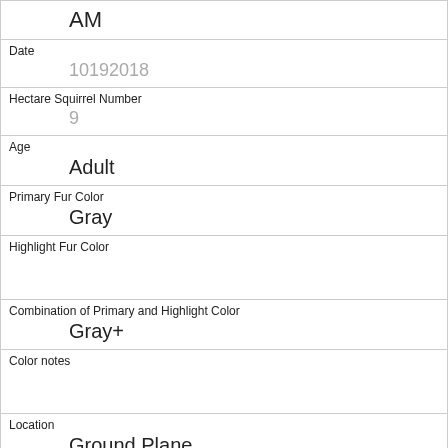| AM |
| Date | 10192018 |
| Hectare Squirrel Number | 9 |
| Age | Adult |
| Primary Fur Color | Gray |
| Highlight Fur Color |  |
| Combination of Primary and Highlight Color | Gray+ |
| Color notes |  |
| Location | Ground Plane |
| Above Ground Sighter Measurement | FALSE |
| Specific Location |  |